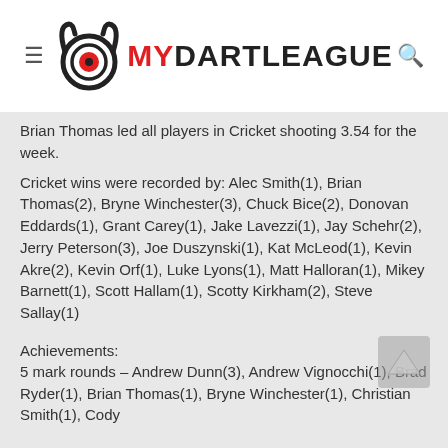MYDARTLEAGUE
Brian Thomas led all players in Cricket shooting 3.54 for the week.
Cricket wins were recorded by: Alec Smith(1), Brian Thomas(2), Bryne Winchester(3), Chuck Bice(2), Donovan Eddards(1), Grant Carey(1), Jake Lavezzi(1), Jay Schehr(2), Jerry Peterson(3), Joe Duszynski(1), Kat McLeod(1), Kevin Akre(2), Kevin Orf(1), Luke Lyons(1), Matt Halloran(1), Mikey Barnett(1), Scott Hallam(1), Scotty Kirkham(2), Steve Sallay(1)
Achievements:
5 mark rounds – Andrew Dunn(3), Andrew Vignocchi(1), Brad Ryder(1), Brian Thomas(1), Bryne Winchester(1), Christian Smith(1), Cody